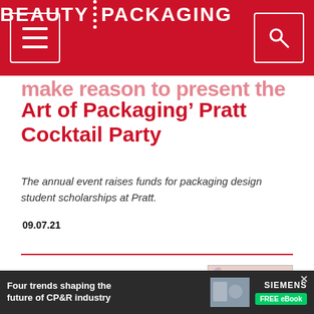BEAUTY PACKAGING
Art of Packaging’ Pratt Cocktail Party
The annual event raises funds for packaging design student scholarships at Pratt.
09.07.21
[Figure (photo): Thumbnail photo of cosmetic products including lipstick and compact powder]
B-Glowing E-Commerce Site
[Figure (other): Advertisement banner: Four trends shaping the future of CP&R industry, Siemens FREE eBook]